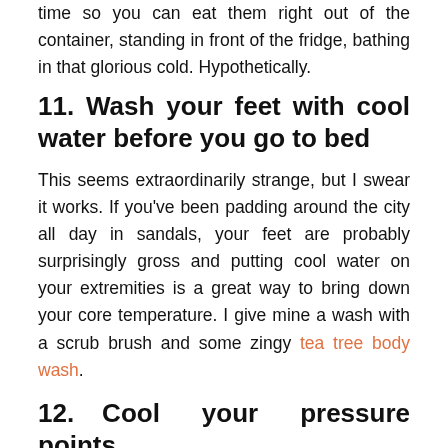time so you can eat them right out of the container, standing in front of the fridge, bathing in that glorious cold. Hypothetically.
11. Wash your feet with cool water before you go to bed
This seems extraordinarily strange, but I swear it works. If you've been padding around the city all day in sandals, your feet are probably surprisingly gross and putting cool water on your extremities is a great way to bring down your core temperature. I give mine a wash with a scrub brush and some zingy tea tree body wash.
12. Cool your pressure points
Did you know you can cool your whole body down by cooling certain points, like the back of...